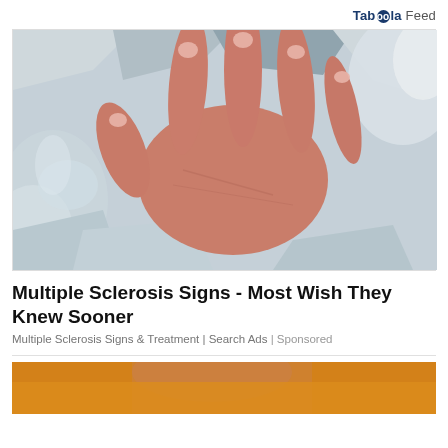Taboola Feed
[Figure (photo): A hand resting on ice cubes, photographed from above. The hand appears reddish and is surrounded by clear ice chunks.]
Multiple Sclerosis Signs - Most Wish They Knew Sooner
Multiple Sclerosis Signs & Treatment | Search Ads | Sponsored
[Figure (photo): Partial image of a person wearing an orange/yellow top, cropped at the bottom of the page.]